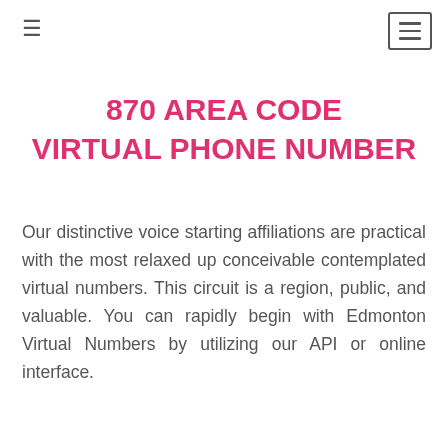≡  ≡
870 AREA CODE VIRTUAL PHONE NUMBER
Our distinctive voice starting affiliations are practical with the most relaxed up conceivable contemplated virtual numbers. This circuit is a region, public, and valuable. You can rapidly begin with Edmonton Virtual Numbers by utilizing our API or online interface.